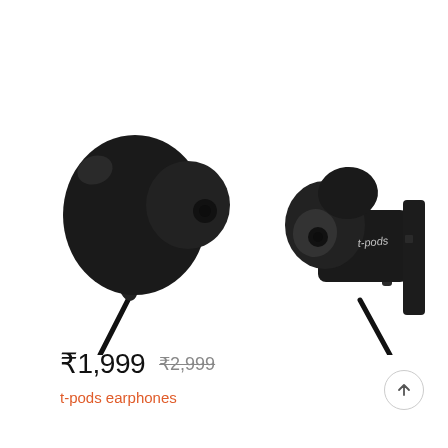[Figure (photo): Two black in-ear earphones/earbuds shown side by side. The left earphone shows the earbud tip and cable going down. The right earphone shows the housing with 't-pods' branding text and the cable going down. Both are black with a flat/angular design.]
₹1,999   ₹2,999
t-pods earphones